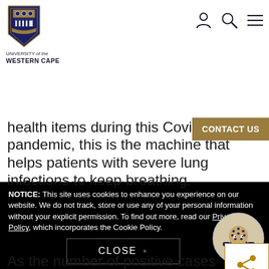[Figure (logo): University of the Western Cape shield logo with text 'UNIVERSITY of the WESTERN CAPE']
[Figure (other): Navigation icons: person, search, hamburger menu]
[Figure (other): Gold 'CONTACT US' button overlay]
health items during this Covid-19 pandemic, this is the machine that helps patients with severe lung infections to keep breathing.
[Figure (other): Share icon button with gold share symbol]
As the number of positive cases increases around the world, so the need for these machines has grown. Last month the department of health told Parliament the
NOTICE: This site uses cookies to enhance you experience on our website. We do not track, store or use any of your personal information without your explicit permission. To find out more, read our Policy, which incorporates the Cookie Policy.
[Figure (illustration): Cartoon mascot character in a circle — small humanoid figure with blue clothing and dotted head]
CLOSE ×